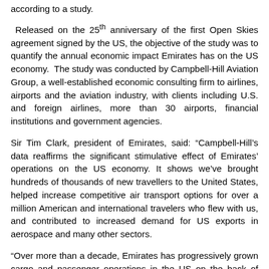according to a study.
Released on the 25th anniversary of the first Open Skies agreement signed by the US, the objective of the study was to quantify the annual economic impact Emirates has on the US economy. The study was conducted by Campbell-Hill Aviation Group, a well-established economic consulting firm to airlines, airports and the aviation industry, with clients including U.S. and foreign airlines, more than 30 airports, financial institutions and government agencies.
Sir Tim Clark, president of Emirates, said: “Campbell-Hill’s data reaffirms the significant stimulative effect of Emirates’ operations on the US economy. It shows we’ve brought hundreds of thousands of new travellers to the United States, helped increase competitive air transport options for over a million American and international travelers who flew with us, and contributed to increased demand for US exports in aerospace and many other sectors.
“Over more than a decade, Emirates has progressively grown cargo and passenger operations in the US on the back of customer demand, and we will continue working with our partners across the travel, tourism, aviation, aerospace and other industries, to expand and improve the products and services that we offer to our customers.”
Sir Tim added: “Emirates has always embraced the goals of Open Skies which, at its core, is meant to also lead to broader economic activity,